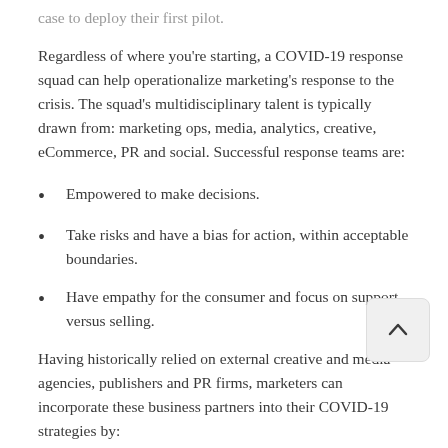case to deploy their first pilot.
Regardless of where you're starting, a COVID-19 response squad can help operationalize marketing's response to the crisis. The squad's multidisciplinary talent is typically drawn from: marketing ops, media, analytics, creative, eCommerce, PR and social. Successful response teams are:
Empowered to make decisions.
Take risks and have a bias for action, within acceptable boundaries.
Have empathy for the consumer and focus on support versus selling.
Having historically relied on external creative and media agencies, publishers and PR firms, marketers can incorporate these business partners into their COVID-19 strategies by:
Including them in routines such as daily